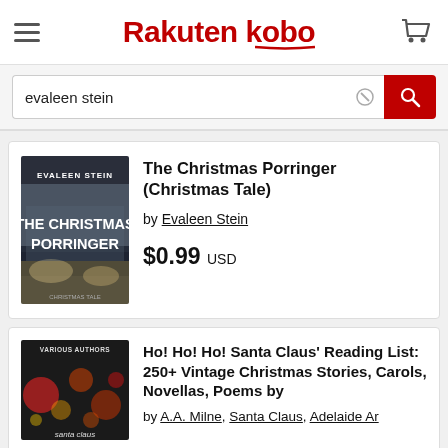Rakuten kobo
evaleen stein
The Christmas Porringer (Christmas Tale)
by Evaleen Stein
$0.99 USD
Ho! Ho! Ho! Santa Claus' Reading List: 250+ Vintage Christmas Stories, Carols, Novellas, Poems by 100+ Authors
by A.A. Milne, Santa Claus, Adelaide Ar